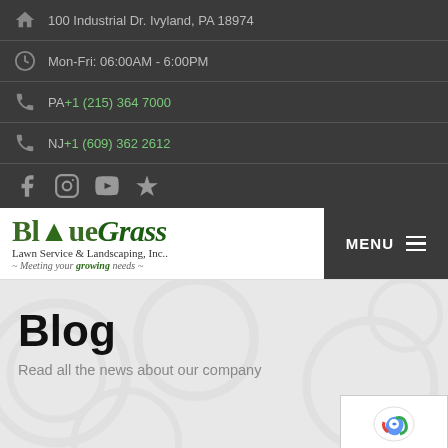100 Industrial Dr. Ivyland, PA 18974
Mon-Fri: 06:00AM - 6:00PM
PA +1 (215) 364 7000
NJ +1 (609) 362 2612
[Figure (logo): Social media icons: Facebook, Instagram, YouTube, Yelp]
[Figure (logo): BlueGrass Lawn Service & Landscaping, Inc. logo with tagline ~ Meeting your growing needs ~]
Blog
Read all the news about our company